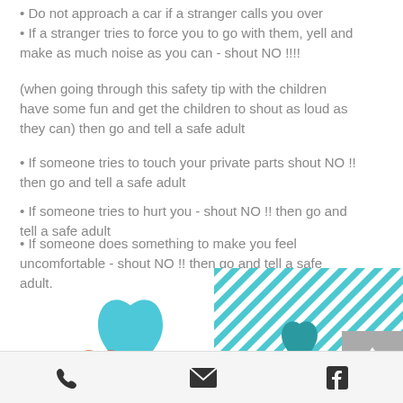• Do not approach a car if a stranger calls you over
• If a stranger tries to force you to go with them, yell and make as much noise as you can - shout NO !!!! (when going through this safety tip with the children have some fun and get the children to shout as loud as they can) then go and tell a safe adult
• If someone tries to touch your private parts shout NO !! then go and tell a safe adult
• If someone tries to hurt you - shout NO !! then go and tell a safe adult
• If someone does something to make you feel uncomfortable - shout NO !! then go and tell a safe adult.
[Figure (illustration): Two overlapping hearts: a blue/teal heart on top-right and an orange heart on bottom-left]
[Figure (illustration): Teal diagonal striped square background with a small teal heart in the center]
Phone icon, Email icon, Facebook icon